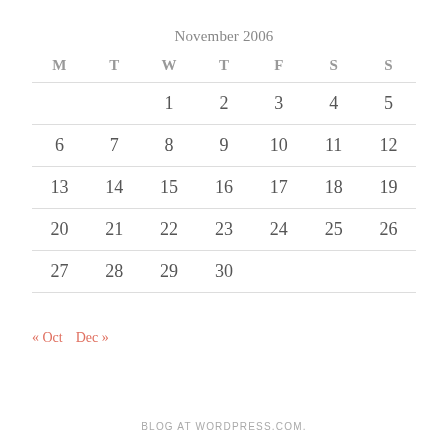November 2006
| M | T | W | T | F | S | S |
| --- | --- | --- | --- | --- | --- | --- |
|  |  | 1 | 2 | 3 | 4 | 5 |
| 6 | 7 | 8 | 9 | 10 | 11 | 12 |
| 13 | 14 | 15 | 16 | 17 | 18 | 19 |
| 20 | 21 | 22 | 23 | 24 | 25 | 26 |
| 27 | 28 | 29 | 30 |  |  |  |
« Oct   Dec »
BLOG AT WORDPRESS.COM.